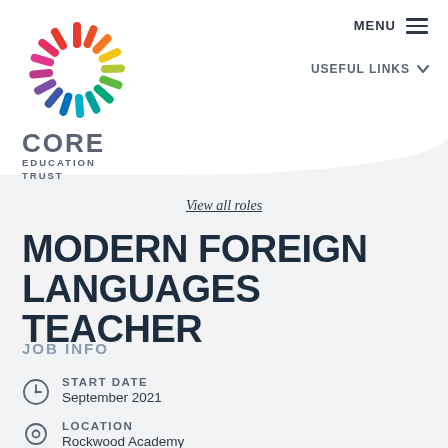[Figure (logo): Core Education Trust logo — colorful starburst/pinwheel made of multi-colored feather-like spokes, with text CORE EDUCATION TRUST below]
MENU | USEFUL LINKS
View all roles
MODERN FOREIGN LANGUAGES TEACHER
JOB INFO
START DATE
September 2021
LOCATION
Rockwood Academy